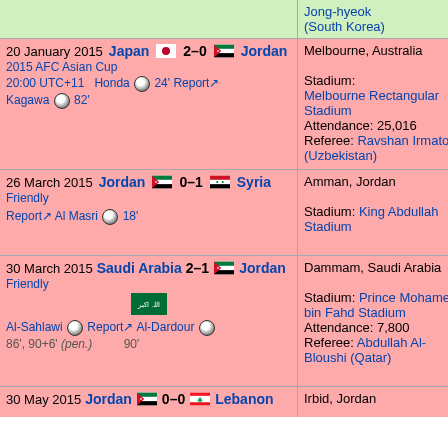| Match Info | Venue/Details |
| --- | --- |
| Jong-hyeok (South Korea) |  |
| 20 January 2015 | Japan 2–0 Jordan | 2015 AFC Asian Cup | 20:00 UTC+11 | Honda 24' Report | Kagawa 82' | Melbourne, Australia | Stadium: Melbourne Rectangular Stadium | Attendance: 25,016 | Referee: Ravshan Irmatov (Uzbekistan) |
| 26 March 2015 | Jordan 0–1 Syria | Friendly | Report | Al Masri 18' | Amman, Jordan | Stadium: King Abdullah Stadium |
| 30 March 2015 | Saudi Arabia 2–1 Jordan | Friendly | Al-Sahlawi 86', 90+6' (pen.) | Report | Al-Dardour 90' | Dammam, Saudi Arabia | Stadium: Prince Mohamed bin Fahd Stadium | Attendance: 7,800 | Referee: Abdullah Al-Bloushi (Qatar) |
| 30 May 2015 | Jordan 0–0 Lebanon | Irbid, Jordan |